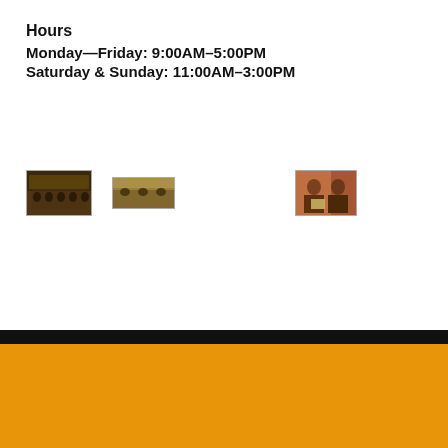Hours
Monday—Friday: 9:00AM–5:00PM
Saturday & Sunday: 11:00AM–3:00PM
[Figure (photo): Group of people in uniform sitting in rows in a meeting room]
[Figure (photo): People seated at a table in a meeting]
[Figure (photo): Two men exchanging a document or certificate]
Find Us
Address
Ruko Hijau